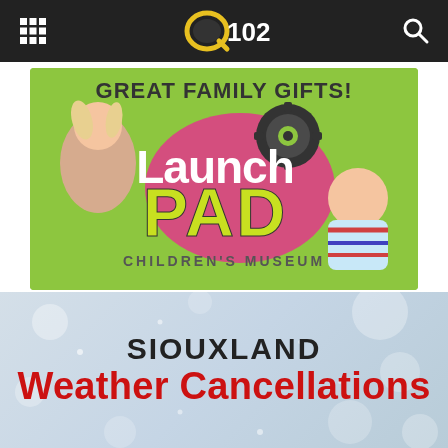Q102
[Figure (illustration): Launch Pad Children's Museum advertisement on green background with two children. Text reads: GREAT FAMILY GIFTS! Launch PAD CHILDREN'S MUSEUM]
[Figure (illustration): Siouxland Weather Cancellations banner with snowy light blue background. Text reads: SIOUXLAND Weather Cancellations]